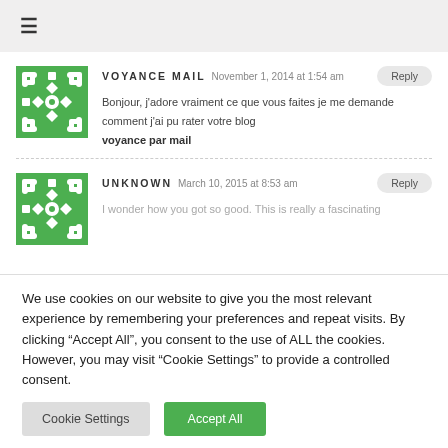≡
VOYANCE MAIL   November 1, 2014 at 1:54 am
Bonjour, j'adore vraiment ce que vous faites je me demande comment j'ai pu rater votre blog
voyance par mail
UNKNOWN   March 10, 2015 at 8:53 am
I wonder how you got so good. This is really a fascinating
We use cookies on our website to give you the most relevant experience by remembering your preferences and repeat visits. By clicking "Accept All", you consent to the use of ALL the cookies. However, you may visit "Cookie Settings" to provide a controlled consent.